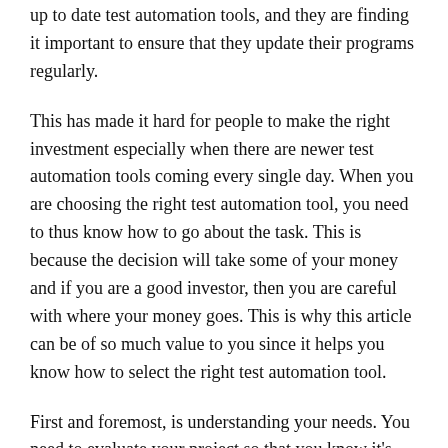up to date test automation tools, and they are finding it important to ensure that they update their programs regularly.
This has made it hard for people to make the right investment especially when there are newer test automation tools coming every single day. When you are choosing the right test automation tool, you need to thus know how to go about the task. This is because the decision will take some of your money and if you are a good investor, then you are careful with where your money goes. This is why this article can be of so much value to you since it helps you know how to select the right test automation tool.
First and foremost, is understanding your needs. You need to evaluate your project so that you know it's requirements. The crucial part of the entire decision making process is ensuring a bug free product as this will increase your chances of success. Hence, the need for working with a team that clearly understands your needs. You also need to check such project requirements as